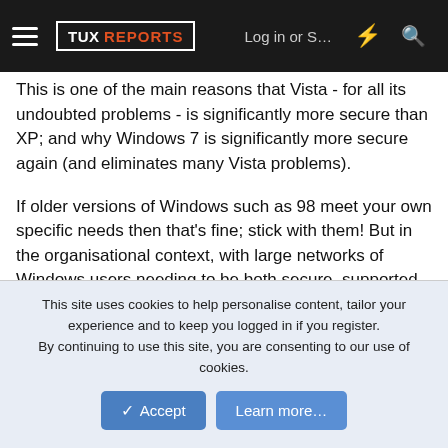TUX REPORTS | Log in or S... | [lightning icon] | [search icon]
This is one of the main reasons that Vista - for all its undoubted problems - is significantly more secure than XP; and why Windows 7 is significantly more secure again (and eliminates many Vista problems).
If older versions of Windows such as 98 meet your own specific needs then that's fine; stick with them! But in the organisational context, with large networks of Windows users needing to be both secure, supported and productive, then the security features in current releases of Windows are quite useful.
This site uses cookies to help personalise content, tailor your experience and to keep you logged in if you register.
By continuing to use this site, you are consenting to our use of cookies.